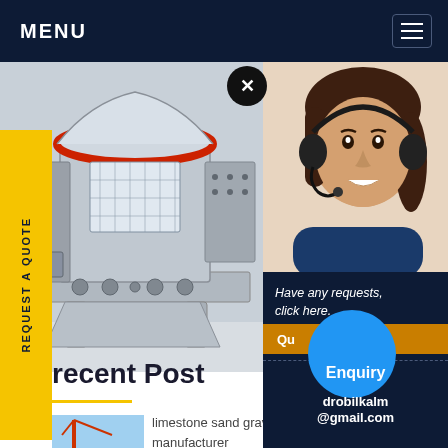MENU
[Figure (photo): Industrial cone crusher / vertical shaft impact crusher machine in a factory setting, gray metallic structure with red accent ring at top]
[Figure (photo): Customer service representative woman with headset smiling]
REQUEST A QUOTE
Have any requests, click here.
Qu
Enquiry
drobilkalm @gmail.com
Recent Post
[Figure (photo): Small thumbnail image of a crane or industrial structure near water]
limestone sand gravel texas manufacturer